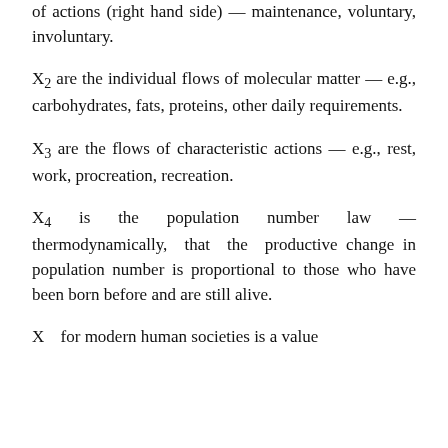of actions (right hand side) — maintenance, voluntary, involuntary.
X₂ are the individual flows of molecular matter — e.g., carbohydrates, fats, proteins, other daily requirements.
X₃ are the flows of characteristic actions — e.g., rest, work, procreation, recreation.
X₄ is the population number law — thermodynamically, that the productive change in population number is proportional to those who have been born before and are still alive.
X… for modern human societies is a value…